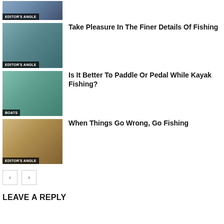[Figure (photo): Partial view of fishing article image with EDITOR'S ANGLE label, cropped at top]
Take Pleasure In The Finer Details Of Fishing
[Figure (photo): Fishing on water scene with EDITOR'S ANGLE label]
Is It Better To Paddle Or Pedal While Kayak Fishing?
[Figure (photo): Kayak fishing scene with BOATS label]
When Things Go Wrong, Go Fishing
[Figure (photo): Person fishing at sunset with EDITOR'S ANGLE label]
< >
LEAVE A REPLY